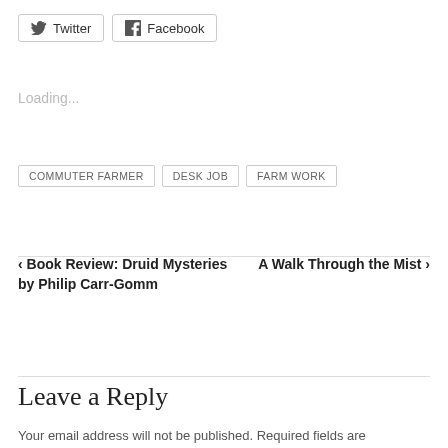[Figure (other): Twitter and Facebook share buttons]
Loading...
COMMUTER FARMER
DESK JOB
FARM WORK
< Book Review: Druid Mysteries by Philip Carr-Gomm
A Walk Through the Mist >
Leave a Reply
Your email address will not be published. Required fields are